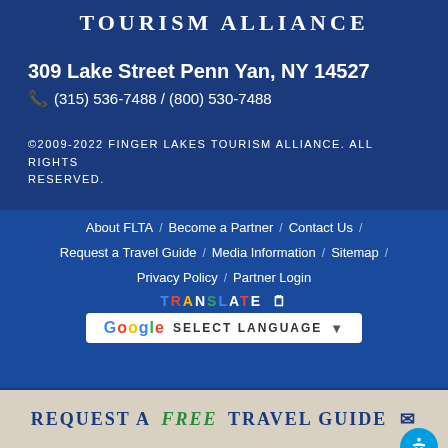TOURISM ALLIANCE
309 Lake Street Penn Yan, NY 14527
(315) 536-7488 / (800) 530-7488
©2009-2022 Finger Lakes Tourism Alliance. All rights reserved.
About FLTA
Become a Partner
Contact Us
Request a Travel Guide
Media Information
Sitemap
Privacy Policy
Partner Login
[Figure (other): TRANSLATE widget with Google Select Language dropdown button]
Request a Free Travel Guide